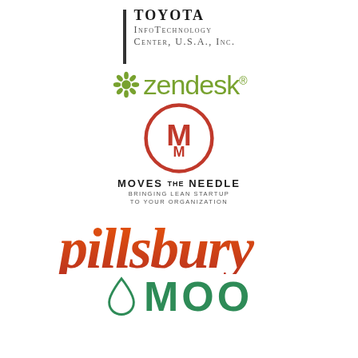[Figure (logo): Toyota InfoTechnology Center, U.S.A., Inc. logo with vertical black bar and serif text]
[Figure (logo): Zendesk logo with green flower/asterisk icon and green lowercase text]
[Figure (logo): Moves The Needle logo with red circle containing MM lettermark and tagline 'Bringing Lean Startup to Your Organization']
[Figure (logo): Pillsbury logo in orange-red bold italic serif text]
[Figure (logo): MOO logo with green teardrop/drop icon and green bold uppercase text]